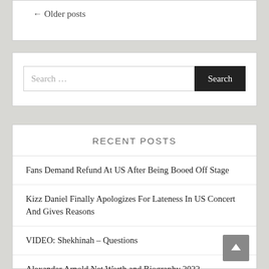← Older posts
Search …
RECENT POSTS
Fans Demand Refund At US After Being Booed Off Stage
Kizz Daniel Finally Apologizes For Lateness In US Concert And Gives Reasons
VIDEO: Shekhinah – Questions
Alexander Arnold Net Worth and Biography 2022
ALBUM: Kid Cudi – The Boy Who Flew To The Moon Vol. 1 (Zip)